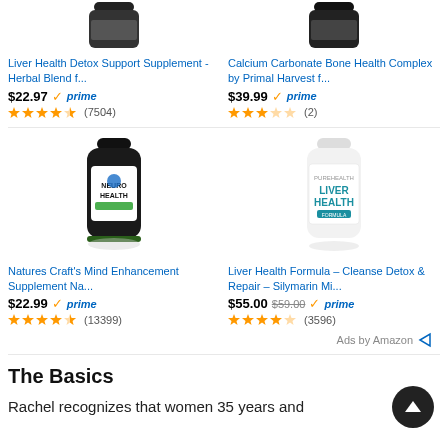[Figure (photo): Liver Health Detox Support Supplement bottle (dark top, partial view)]
[Figure (photo): Calcium Carbonate Bone Health Complex bottle (dark top, partial view)]
Liver Health Detox Support Supplement - Herbal Blend f...
Calcium Carbonate Bone Health Complex by Primal Harvest f...
$22.97 prime (7504 reviews, 4.5 stars)
$39.99 prime (2 reviews, 3.5 stars)
[Figure (photo): Natures Craft Neuro Health supplement bottle, black with brain imagery]
[Figure (photo): Liver Health Formula white supplement bottle]
Natures Craft's Mind Enhancement Supplement Na...
Liver Health Formula – Cleanse Detox & Repair – Silymarin Mi...
$22.99 prime (13399 reviews, 4.5 stars)
$55.00  $59.00 prime (3596 reviews, 4 stars)
Ads by Amazon
The Basics
Rachel recognizes that women 35 years and